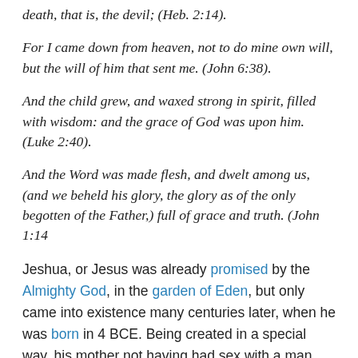death, that is, the devil; (Heb. 2:14).
For I came down from heaven, not to do mine own will, but the will of him that sent me. (John 6:38).
And the child grew, and waxed strong in spirit, filled with wisdom: and the grace of God was upon him. (Luke 2:40).
And the Word was made flesh, and dwelt among us, (and we beheld his glory, the glory as of the only begotten of the Father,) full of grace and truth. (John 1:14
Jeshua, or Jesus was already promised by the Almighty God, in the garden of Eden, but only came into existence many centuries later, when he was born in 4 BCE. Being created in a special way, his mother not having had sex with a man, got pregnant by the Power of God (the Holy Spirit), made it that there is a special connection between